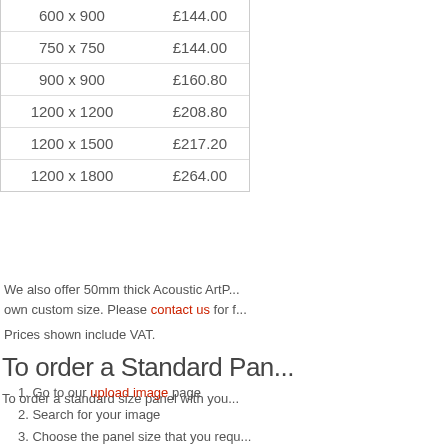| Size | Price |
| --- | --- |
| 600 x 900 | £144.00 |
| 750 x 750 | £144.00 |
| 900 x 900 | £160.80 |
| 1200 x 1200 | £208.80 |
| 1200 x 1500 | £217.20 |
| 1200 x 1800 | £264.00 |
We also offer 50mm thick Acoustic ArtPanels in your own custom size. Please contact us for further details.
Prices shown include VAT.
To order a Standard Panel
To order a standard size panel with your chosen image:
Go to our upload image page
Search for your image
Choose the panel size that you require
Add the panel to your basket, then